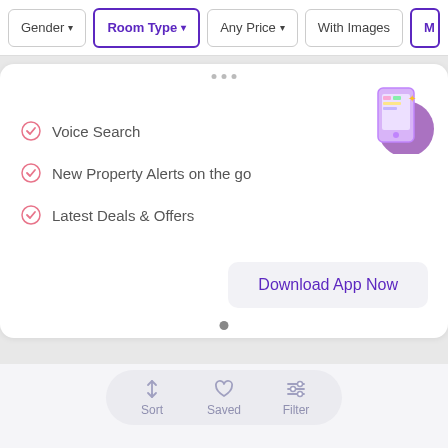Gender | Room Type | Any Price | With Images | Mo...
Voice Search
New Property Alerts on the go
Latest Deals & Offers
Download App Now
[Figure (screenshot): Mobile app promotion card showing a phone illustration with checklist items and a Download App Now button]
Sort | Saved | Filter